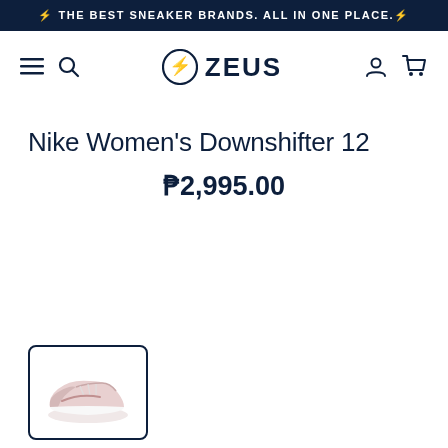⚡ THE BEST SNEAKER BRANDS. ALL IN ONE PLACE.⚡
[Figure (logo): Zeus sneaker store logo with navigation icons (hamburger menu, search, user account, cart)]
Nike Women's Downshifter 12
₱2,995.00
[Figure (photo): Thumbnail image of a pink Nike Women's Downshifter 12 sneaker]